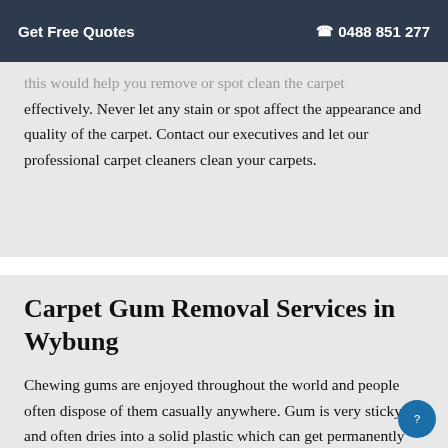Get Free Quotes  ☎ 0488 851 277
…this would help you remove or spot clean the carpet effectively. Never let any stain or spot affect the appearance and quality of the carpet. Contact our executives and let our professional carpet cleaners clean your carpets.
Carpet Gum Removal Services in Wybung
Chewing gums are enjoyed throughout the world and people often dispose of them casually anywhere. Gum is very sticky and often dries into a solid plastic which can get permanently fixed to fibres of the carpet. This